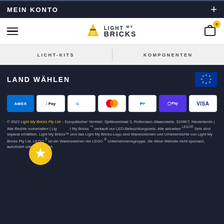MEIN KONTO
[Figure (logo): Light My Bricks logo with hamburger menu and cart icon with badge 0]
LICHT-KITS | KOMPONENTEN
LAND WÄHLEN
[Figure (infographic): Payment method logos: AMEX, Apple Pay, Google Pay, Mastercard, PayPal, Shop Pay, VISA]
© 2022 Light My Bricks Pty Ltd - Europäischer Vertrieb: Sjelikowstraat 3, Rotterdam-Maasvlakte, 3199KT, Niederlande | Alle Rechte vorbehalten | Light My Bricks™ verkauft nur LED-Beleuchtungssets. Alle aktuellen LEGO® Sets sind separat erhältlich. Light My Bricks™ und das Light My Bricks-Logo sind Warenzeichen und Urheberrechte von Light My Bricks Pty Ltd. LEGO ® ist ein Warenzeichen der LEGO ® Unternehmensgruppe, die diese Website nicht sponsert, autorisiert oder unterstützt.